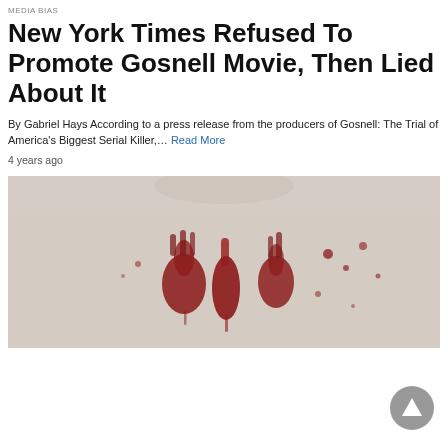MEDIA BIAS
New York Times Refused To Promote Gosnell Movie, Then Lied About It
By Gabriel Hays According to a press release from the producers of Gosnell: The Trial of America's Biggest Serial Killer,… Read More
4 years ago
[Figure (photo): A close-up image showing bloody handprints or bloodstains on a pale surface, from the Gosnell movie promotional material.]